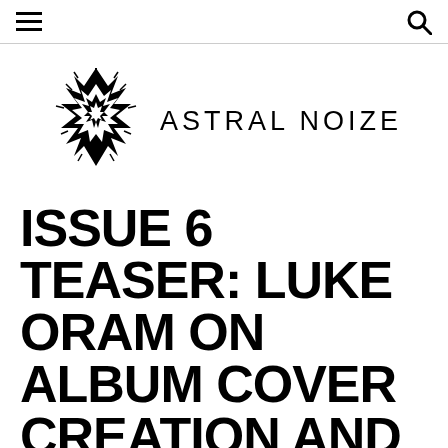≡  🔍
[Figure (logo): Astral Noize logo: a spiky black metal-style emblem with jagged lines forming a diamond/crest shape, next to the text ASTRAL NOIZE in uppercase spaced letters]
ISSUE 6 TEASER: LUKE ORAM ON ALBUM COVER CREATION AND MULTIMEDIA ART